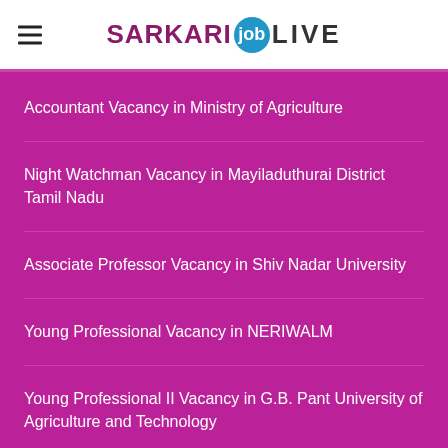SARKARI job LIVE
Accountant Vacancy in Ministry of Agriculture
Night Watchman Vacancy in Mayiladuthurai District Tamil Nadu
Associate Professor Vacancy in Shiv Nadar University
Young Professional Vacancy in NERIWALM
Young Professional II Vacancy in G.B. Pant University of Agriculture and Technology